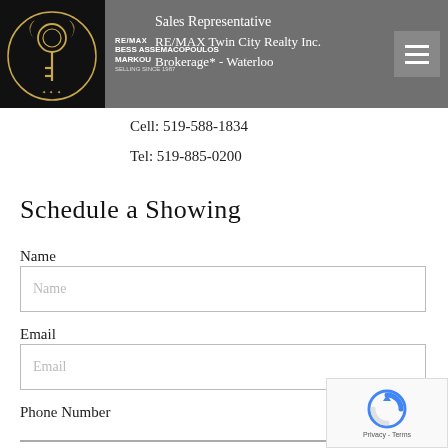[Figure (screenshot): Website header with logo (key icon with BESS ASSEMACOPOULOS MARKOU branding), agent name overlay, and hamburger menu button on dark/grey background. Partial text visible: 'Sales Representative' and 'RE/MAX Twin City Realty Inc. Brokerage* - Waterloo']
Sales Representative
RE/MAX Twin City Realty Inc. Brokerage* - Waterloo
Cell: 519-588-1834
Tel: 519-885-0200
Schedule a Showing
Name
Email
Phone Number